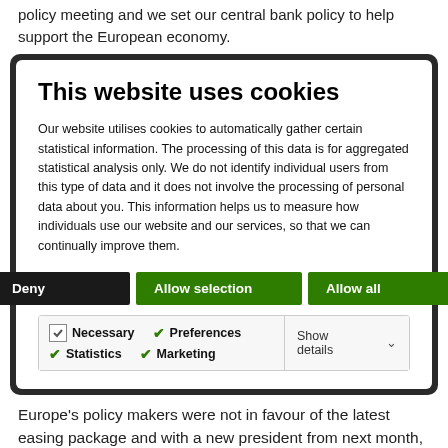policy meeting and we set our central bank policy to help support the European economy.
This website uses cookies
Our website utilises cookies to automatically gather certain statistical information. The processing of this data is for aggregated statistical analysis only. We do not identify individual users from this type of data and it does not involve the processing of personal data about you. This information helps us to measure how individuals use our website and our services, so that we can continually improve them.
Deny | Allow selection | Allow all
Necessary | Preferences | Statistics | Marketing | Show details
Europe's policy makers were not in favour of the latest easing package and with a new president from next month, there could be changes in the way the ECB conducts monetary policy. Although recent economic data in Europe